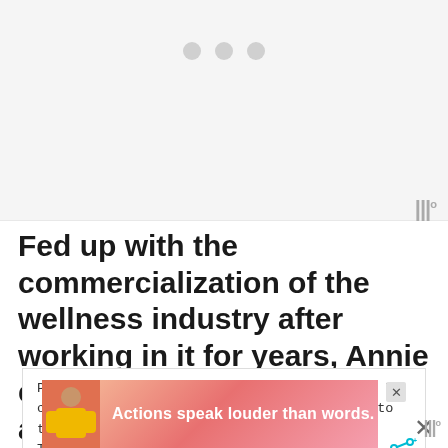[Figure (other): Gray placeholder media area with three loading dots centered near the top]
Fed up with the commercialization of the wellness industry after working in it for years, Annie embarked on an inspiring adventure
Privacy & Cookies: This site uses cookies. By continuing to use this website, you agree to their use.
To find out more, including how to control cookies, see here:
Cookie Policy
[Figure (other): Advertisement banner: 'Actions speak louder than words.' with a person figure on a pink/coral gradient background]